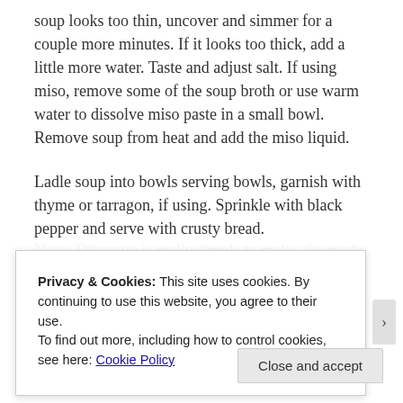soup looks too thin, uncover and simmer for a couple more minutes. If it looks too thick, add a little more water. Taste and adjust salt. If using miso, remove some of the soup broth or use warm water to dissolve miso paste in a small bowl. Remove soup from heat and add the miso liquid.
Ladle soup into bowls serving bowls, garnish with thyme or tarragon, if using. Sprinkle with black pepper and serve with crusty bread.
Note: This soup is really simple to make, the made several...
Privacy & Cookies: This site uses cookies. By continuing to use this website, you agree to their use.
To find out more, including how to control cookies, see here: Cookie Policy
Close and accept